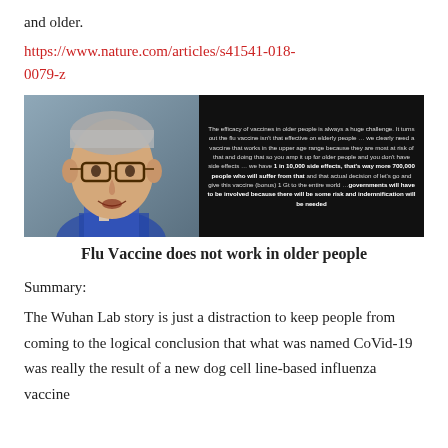and older.
https://www.nature.com/articles/s41541-018-0079-z
[Figure (screenshot): Screenshot showing a photo of a man wearing glasses beside a text overlay discussing vaccine efficacy in older people, 1 in 10,000 side effects, and government involvement.]
Flu Vaccine does not work in older people
Summary:
The Wuhan Lab story is just a distraction to keep people from coming to the logical conclusion that what was named CoVid-19 was really the result of a new dog cell line-based influenza vaccine